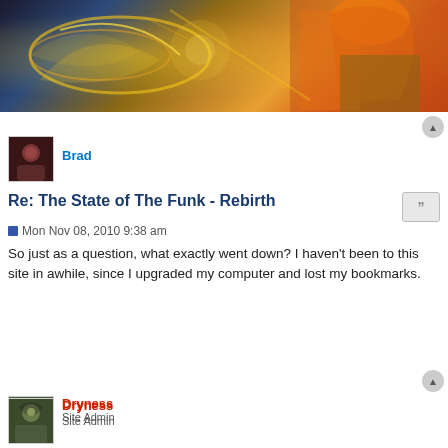[Figure (illustration): Fantasy/gaming banner image with glowing magical effects in gold and blue on the left, and an orange-haired figure on the right, dark stylized background]
Brad
Re: The State of The Funk - Rebirth
Mon Nov 08, 2010 9:38 am
So just as a question, what exactly went down? I haven't been to this site in awhile, since I upgraded my computer and lost my bookmarks.
Dryness
Site Admin
Re: The State of The Funk - Rebirth
Mon Nov 08, 2010 9:43 am
People who were here, are no longer here.

There was a difference of opinions between the way some members felt they were treated, and a perceived level of favourtism/elitism far beyond reality for the officers/successful 10-man group members.